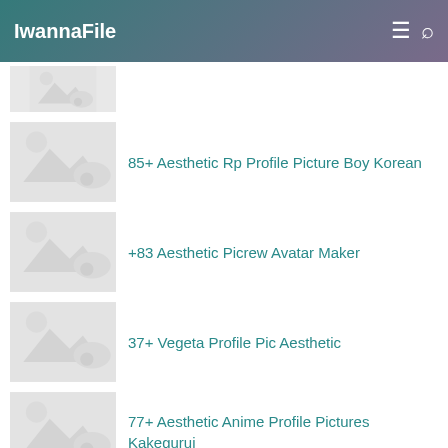IwannaFile
85+ Aesthetic Rp Profile Picture Boy Korean
+83 Aesthetic Picrew Avatar Maker
37+ Vegeta Profile Pic Aesthetic
77+ Aesthetic Anime Profile Pictures Kakegurui
RANDOM POST
20+ Aesthetic Among Us Profile Picture
55+ ...